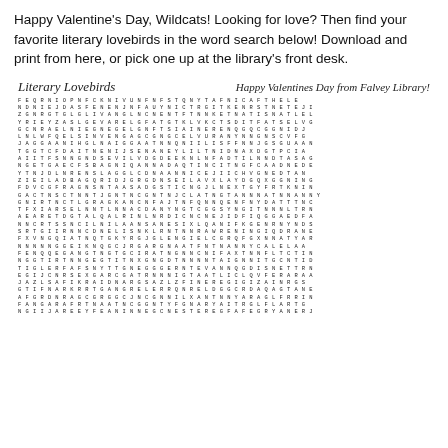Happy Valentine's Day, Wildcats! Looking for love? Then find your favorite literary lovebirds in the word search below! Download and print from here, or pick one up at the library's front desk.
Literary Lovebirds     Happy Valentines Day from Falvey Library!
[Figure (other): Word search puzzle grid with random letters arranged in rows and columns]